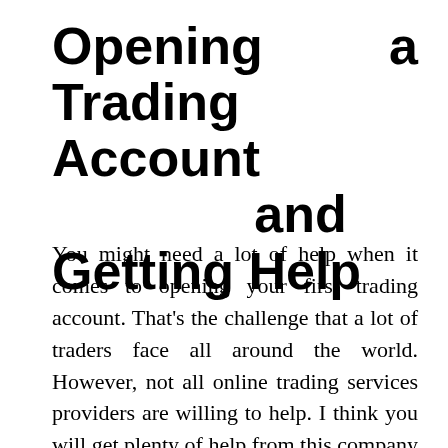Opening a Trading Account and Getting Help
You might need a lot of help when it comes to opening your first trading account. That's the challenge that a lot of traders face all around the world. However, not all online trading services providers are willing to help. I think you will get plenty of help from this company when you sign up. Firstly, you have multiple accounts to choose from. Secondly, you can sign up with a regular or an Islamic account based on your